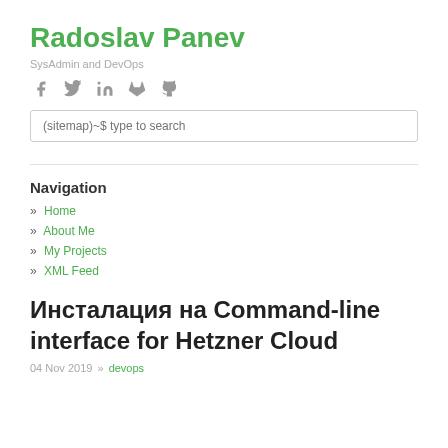Radoslav Panev
SysAdmin and DevOps
[Figure (other): Social media icons: Facebook, Twitter, LinkedIn, GitLab, GitHub]
(sitemap)~$ type to search
Navigation
» Home
» About Me
» My Projects
» XML Feed
Инсталация на Command-line interface for Hetzner Cloud
04 Nov 2019 » devops